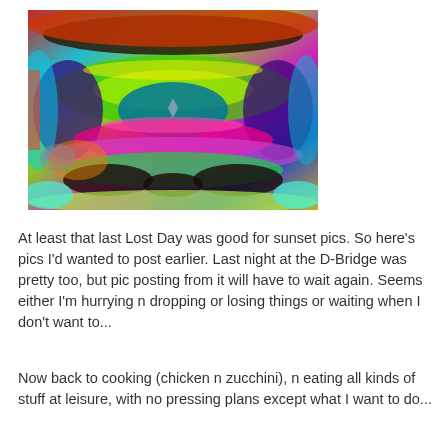[Figure (illustration): A colorful psychedelic/abstract image with symmetrical swirling patterns in vivid colors including green, red, blue, purple, yellow, magenta, and teal, arranged in a kaleidoscopic, mirror-image composition.]
At least that last Lost Day was good for sunset pics. So here's pics I'd wanted to post earlier. Last night at the D-Bridge was pretty too, but pic posting from it will have to wait again. Seems either I'm hurrying n dropping or losing things or waiting when I don't want to...
Now back to cooking (chicken n zucchini), n eating all kinds of stuff at leisure, with no pressing plans except what I want to do...